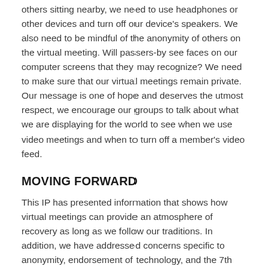others sitting nearby, we need to use headphones or other devices and turn off our device's speakers. We also need to be mindful of the anonymity of others on the virtual meeting. Will passers-by see faces on our computer screens that they may recognize? We need to make sure that our virtual meetings remain private. Our message is one of hope and deserves the utmost respect, we encourage our groups to talk about what we are displaying for the world to see when we use video meetings and when to turn off a member's video feed.
MOVING FORWARD
This IP has presented information that shows how virtual meetings can provide an atmosphere of recovery as long as we follow our traditions. In addition, we have addressed concerns specific to anonymity, endorsement of technology, and the 7th tradition. Finally, it is the hope of the Virtual Literature